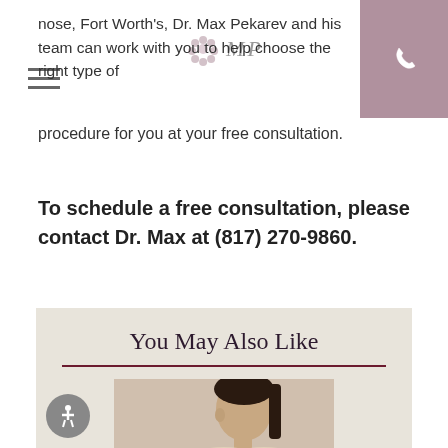MP [logo header with hamburger menu and phone]
nose, Fort Worth's, Dr. Max Pekarev and his team can work with you to help choose the right type of procedure for you at your free consultation.
To schedule a free consultation, please contact Dr. Max at (817) 270-9860.
You May Also Like
[Figure (photo): Side profile photo of a young woman with dark hair pulled back, showing her nose and facial profile against a light background]